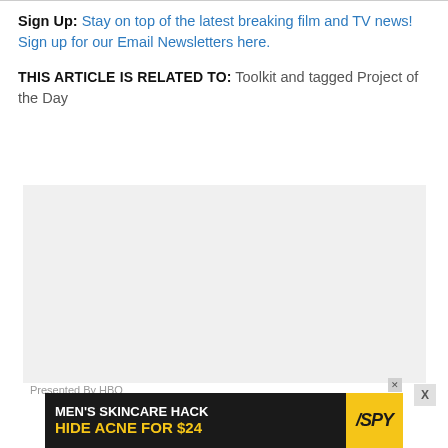Sign Up: Stay on top of the latest breaking film and TV news! Sign up for our Email Newsletters here.
THIS ARTICLE IS RELATED TO: Toolkit and tagged Project of the Day
[Figure (other): Gray placeholder advertisement box with 'Presented By HBO' label at bottom left and X close button at bottom right]
[Figure (other): Black and yellow advertisement banner: MEN'S SKINCARE HACK / HIDE ACNE FOR $24 with SPY logo in yellow]